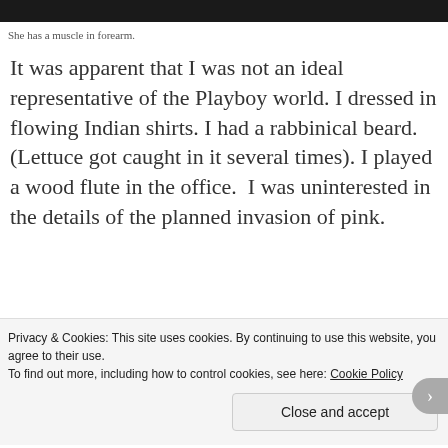[Figure (photo): Top strip of a black and white photograph, partially cropped]
She has a muscle in forearm.
It was apparent that I was not an ideal representative of the Playboy world. I dressed in flowing Indian shirts. I had a rabbinical beard. (Lettuce got caught in it several times). I played a wood flute in the office.  I was uninterested in the details of the planned invasion of pink.
The disconnect between me and the
Privacy & Cookies: This site uses cookies. By continuing to use this website, you agree to their use.
To find out more, including how to control cookies, see here: Cookie Policy
Close and accept